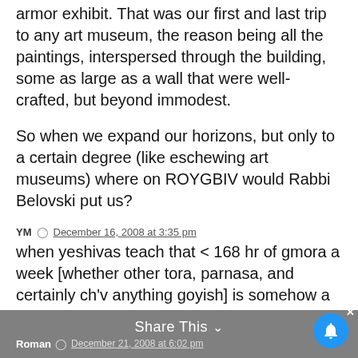armor exhibit. That was our first and last trip to any art museum, the reason being all the paintings, interspersed through the building, some as large as a wall that were well-crafted, but beyond immodest.
So when we expand our horizons, but only to a certain degree (like eschewing art museums) where on ROYGBIV would Rabbi Belovski put us?
YM  December 16, 2008 at 3:35 pm
when yeshivas teach that < 168 hr of gmora a week [whether other tora, parnasa, and certainly ch'v anything goyish] is somehow a failing
lacosta, where do you get this from?
Roman  December 21, 2008 at 6:02 pm  Share This